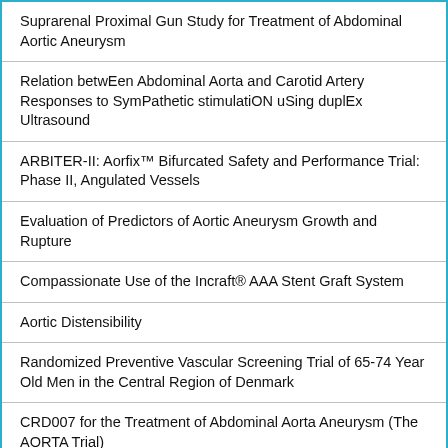Suprarenal Proximal Gun Study for Treatment of Abdominal Aortic Aneurysm
Relation betwEen Abdominal Aorta and Carotid Artery Responses to SymPathetic stimulatiON uSing duplEx Ultrasound
ARBITER-II: Aorfix™ Bifurcated Safety and Performance Trial: Phase II, Angulated Vessels
Evaluation of Predictors of Aortic Aneurysm Growth and Rupture
Compassionate Use of the Incraft® AAA Stent Graft System
Aortic Distensibility
Randomized Preventive Vascular Screening Trial of 65-74 Year Old Men in the Central Region of Denmark
CRD007 for the Treatment of Abdominal Aorta Aneurysm (The AORTA Trial)